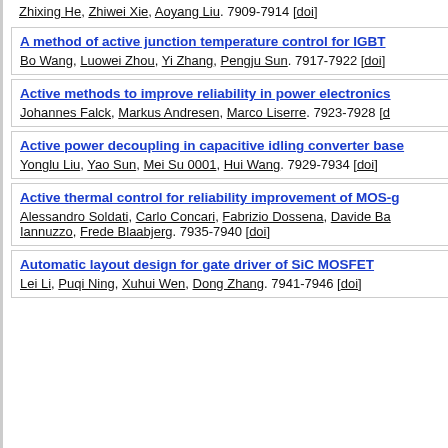Zhixing He, Zhiwei Xie, Aoyang Liu. 7909-7914 [doi]
A method of active junction temperature control for IGBT
Bo Wang, Luowei Zhou, Yi Zhang, Pengju Sun. 7917-7922 [doi]
Active methods to improve reliability in power electronics
Johannes Falck, Markus Andresen, Marco Liserre. 7923-7928 [d
Active power decoupling in capacitive idling converter base
Yonglu Liu, Yao Sun, Mei Su 0001, Hui Wang. 7929-7934 [doi]
Active thermal control for reliability improvement of MOS-g
Alessandro Soldati, Carlo Concari, Fabrizio Dossena, Davide Ba
Iannuzzo, Frede Blaabjerg. 7935-7940 [doi]
Automatic layout design for gate driver of SiC MOSFET
Lei Li, Puqi Ning, Xuhui Wen, Dong Zhang. 7941-7946 [doi]